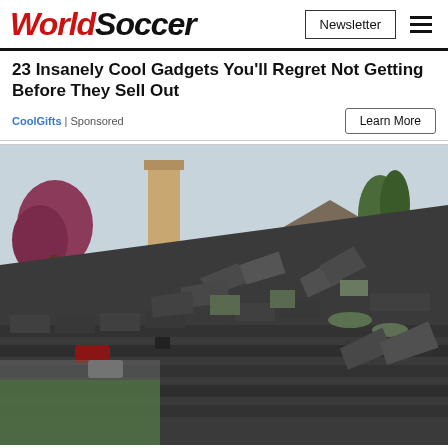WorldSoccer
23 Insanely Cool Gadgets You'll Regret Not Getting Before They Sell Out
CoolGifts | Sponsored
[Figure (photo): Damaged residential roof with curling and missing shingles; chimney visible, trees and houses in background]
5 Best